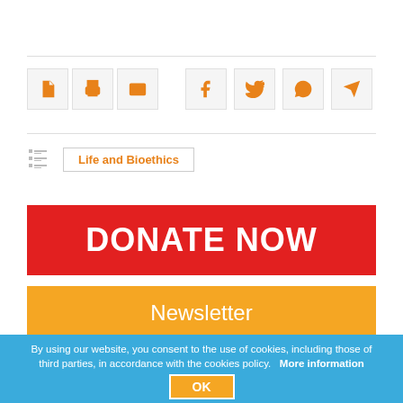[Figure (infographic): Row of action icons: PDF, print, email, and social share buttons (Facebook, Twitter, WhatsApp, Telegram) in orange on light gray backgrounds]
Life and Bioethics
[Figure (infographic): Red banner button with white bold text: DONATE NOW]
[Figure (infographic): Orange banner button with white text: Newsletter]
[Figure (photo): A strip of faded historical portrait photos]
By using our website, you consent to the use of cookies, including those of third parties, in accordance with the cookies policy.   More information
OK